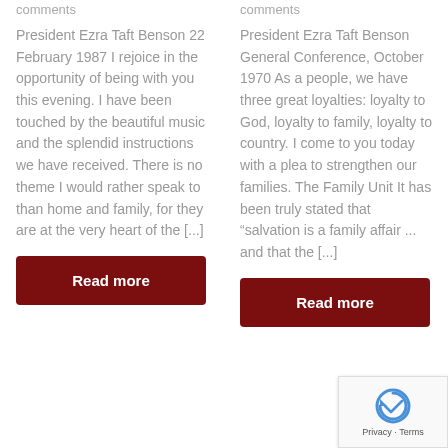comments
comments
President Ezra Taft Benson 22 February 1987 I rejoice in the opportunity of being with you this evening. I have been touched by the beautiful music and the splendid instructions we have received. There is no theme I would rather speak to than home and family, for they are at the very heart of the [...]
President Ezra Taft Benson General Conference, October 1970 As a people, we have three great loyalties: loyalty to God, loyalty to family, loyalty to country. I come to you today with a plea to strengthen our families. The Family Unit It has been truly stated that "salvation is a family affair ... and that the [...]
Read more
Read more
[Figure (other): reCAPTCHA widget with Privacy and Terms links]